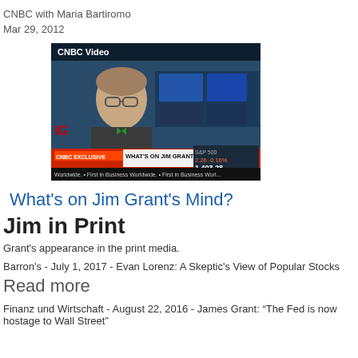CNBC with Maria Bartiromo
Mar 29, 2012
[Figure (screenshot): CNBC Video thumbnail showing Jim Grant being interviewed, with ticker banner reading 'WHAT'S ON JIM GRANT'S MIND?' and S&P 500 at 1,403.28, -0.16%]
What's on Jim Grant's Mind?
Jim in Print
Grant's appearance in the print media.
Barron's - July 1, 2017 - Evan Lorenz: A Skeptic's View of Popular Stocks
Read more
Finanz und Wirtschaft - August 22, 2016 - James Grant: “The Fed is now hostage to Wall Street”